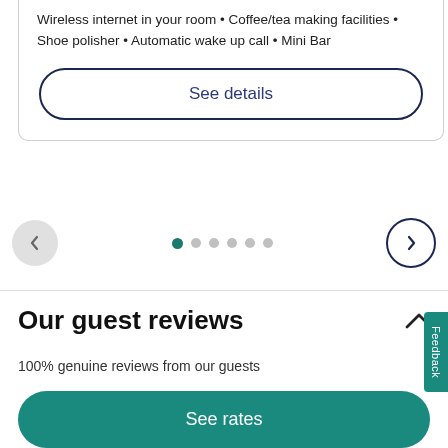Wireless internet in your room • Coffee/tea making facilities • Shoe polisher • Automatic wake up call • Mini Bar
See details
[Figure (screenshot): Carousel navigation with left arrow button (grey circle), pagination dots (first dot teal/active, rest grey), and right arrow button (white circle with dark border)]
Our guest reviews
100% genuine reviews from our guests
See rates